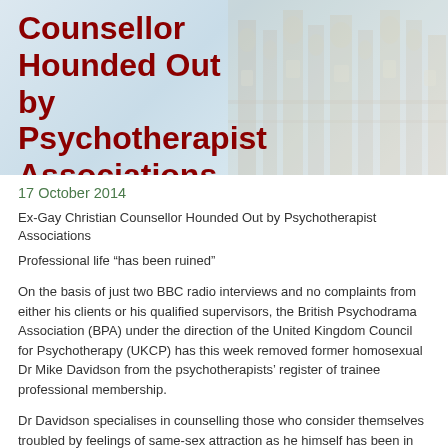Counsellor Hounded Out by Psychotherapist Associations
17 October 2014
Ex-Gay Christian Counsellor Hounded Out by Psychotherapist Associations
Professional life “has been ruined”
On the basis of just two BBC radio interviews and no complaints from either his clients or his qualified supervisors, the British Psychodrama Association (BPA) under the direction of the United Kingdom Council for Psychotherapy (UKCP) has this week removed former homosexual Dr Mike Davidson from the psychotherapists’ register of trainee professional membership.
Dr Davidson specialises in counselling those who consider themselves troubled by feelings of same-sex attraction as he himself has been in the past, having personally at the stage of not being able to function as a man.